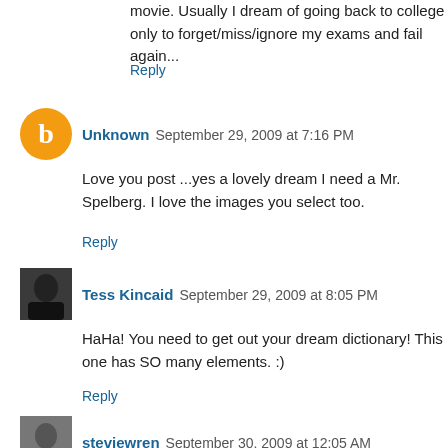movie. Usually I dream of going back to college only to forget/miss/ignore my exams and fail again...
Reply
Unknown  September 29, 2009 at 7:16 PM
Love you post ...yes a lovely dream I need a Mr. Spelberg. I love the images you select too.
Reply
Tess Kincaid  September 29, 2009 at 8:05 PM
HaHa! You need to get out your dream dictionary! This one has SO many elements. :)
Reply
steviewren  September 30, 2009 at 12:05 AM
I dream about houses and house tours and architecture. I don't have a clue what it means.